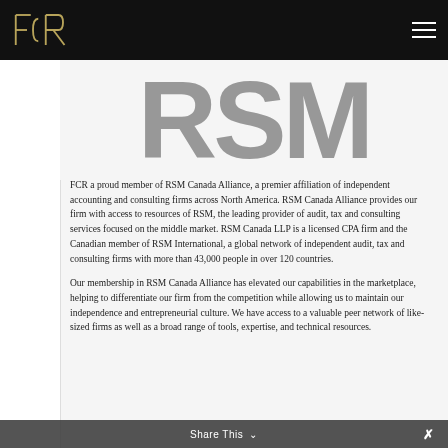FCR logo and navigation menu
[Figure (logo): RSM large watermark/logo text in gray on light background, partially cropped at top]
FCR a proud member of RSM Canada Alliance, a premier affiliation of independent accounting and consulting firms across North America. RSM Canada Alliance provides our firm with access to resources of RSM, the leading provider of audit, tax and consulting services focused on the middle market. RSM Canada LLP is a licensed CPA firm and the Canadian member of RSM International, a global network of independent audit, tax and consulting firms with more than 43,000 people in over 120 countries.
Our membership in RSM Canada Alliance has elevated our capabilities in the marketplace, helping to differentiate our firm from the competition while allowing us to maintain our independence and entrepreneurial culture. We have access to a valuable peer network of like-sized firms as well as a broad range of tools, expertise, and technical resources.
Share This ∨  ✕